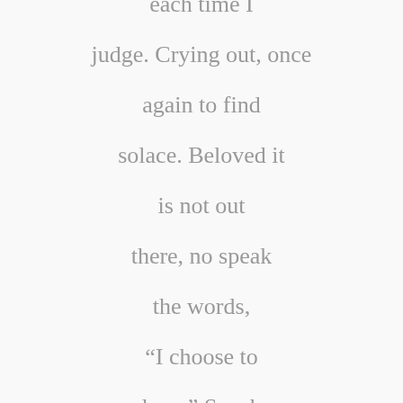each time I judge. Crying out, once again to find solace. Beloved it is not out there, no speak the words, “I choose to love.” Speak